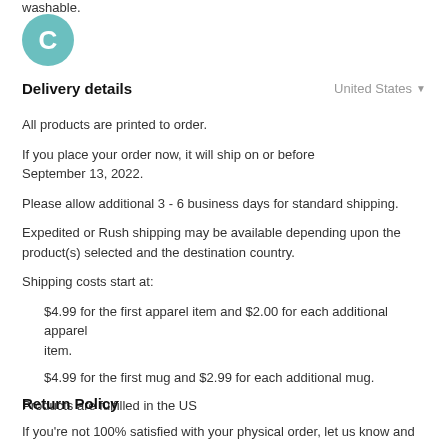washable.
[Figure (illustration): Teal circular avatar with white letter C]
Delivery details
United States ▾
All products are printed to order.
If you place your order now, it will ship on or before September 13, 2022.
Please allow additional 3 - 6 business days for standard shipping.
Expedited or Rush shipping may be available depending upon the product(s) selected and the destination country.
Shipping costs start at:
$4.99 for the first apparel item and $2.00 for each additional apparel item.
$4.99 for the first mug and $2.99 for each additional mug.
Products are fulfilled in the US
Return Policy
If you're not 100% satisfied with your physical order, let us know and